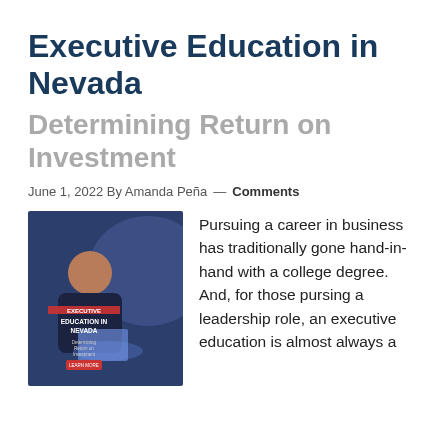Executive Education in Nevada
Determining Return on Investment
June 1, 2022 By Amanda Peña — Comments
[Figure (photo): Book cover for 'Executive Education in Nevada: Determining Return on Investment' with a woman typing on a laptop in the background]
Pursuing a career in business has traditionally gone hand-in-hand with a college degree. And, for those pursing a leadership role, an executive education is almost always a